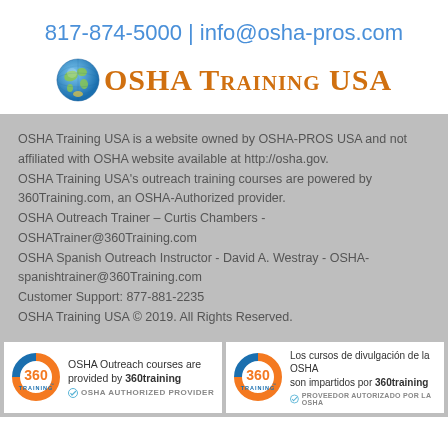817-874-5000 | info@osha-pros.com
[Figure (logo): OSHA Training USA logo with globe icon and orange text]
OSHA Training USA is a website owned by OSHA-PROS USA and not affiliated with OSHA website available at http://osha.gov.
OSHA Training USA's outreach training courses are powered by 360Training.com, an OSHA-Authorized provider.
OSHA Outreach Trainer – Curtis Chambers - OSHATrainer@360Training.com
OSHA Spanish Outreach Instructor - David A. Westray - OSHA-spanishtrainer@360Training.com
Customer Support: 877-881-2235
OSHA Training USA © 2019. All Rights Reserved.
[Figure (logo): 360training badge - OSHA Outreach courses are provided by 360training, OSHA AUTHORIZED PROVIDER]
[Figure (logo): 360training badge in Spanish - Los cursos de divulgacion de la OSHA son impartidos por 360training, PROVEEDOR AUTORIZADO POR LA OSHA]